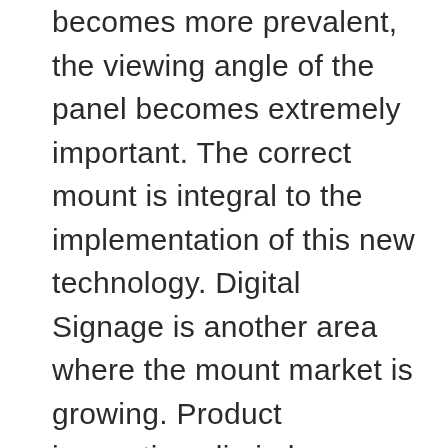becomes more prevalent, the viewing angle of the panel becomes extremely important. The correct mount is integral to the implementation of this new technology. Digital Signage is another area where the mount market is growing. Product innovations lie in how flexible the mounts have become. Installers want a mount that is easy, strong, and flexible enough to handle the changes that come from their customers, no matter the application.